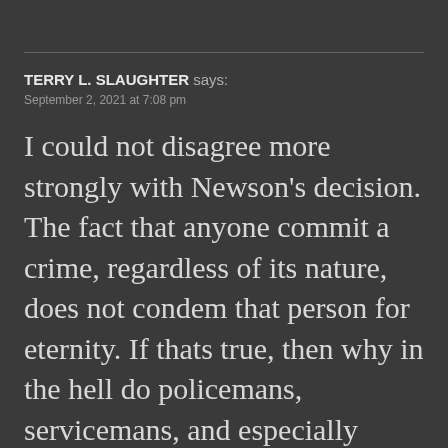TERRY L. SLAUGHTER says:
September 2, 2021 at 7:08 pm
I could not disagree more strongly with Newson's decision. The fact that anyone commit a crime, regardless of its nature, does not condem that person for eternity. If thats true, then why in the hell do policemans, servicemans, and especially government officials, not be